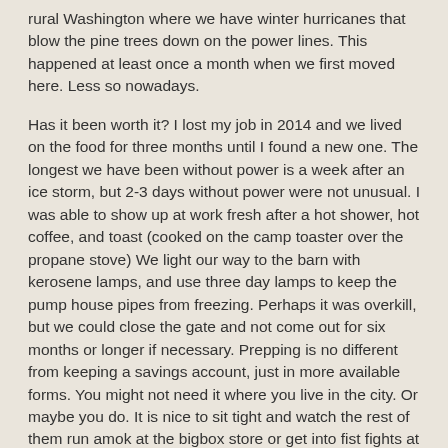rural Washington where we have winter hurricanes that blow the pine trees down on the power lines. This happened at least once a month when we first moved here. Less so nowadays.
Has it been worth it? I lost my job in 2014 and we lived on the food for three months until I found a new one. The longest we have been without power is a week after an ice storm, but 2-3 days without power were not unusual. I was able to show up at work fresh after a hot shower, hot coffee, and toast (cooked on the camp toaster over the propane stove) We light our way to the barn with kerosene lamps, and use three day lamps to keep the pump house pipes from freezing. Perhaps it was overkill, but we could close the gate and not come out for six months or longer if necessary. Prepping is no different from keeping a savings account, just in more available forms. You might not need it where you live in the city. Or maybe you do. It is nice to sit tight and watch the rest of them run amok at the bigbox store or get into fist fights at the gas pump.
Yes it has been worth it.